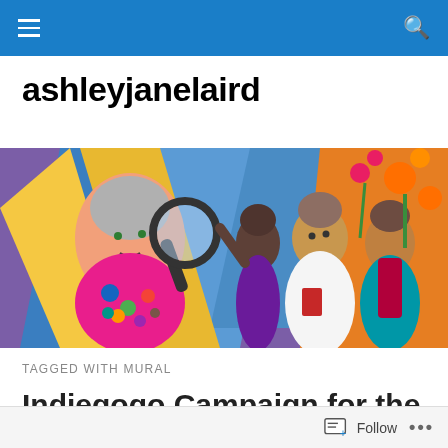Navigation bar with hamburger menu and search icon
ashleyjanelaird
[Figure (illustration): A colorful mural depicting several women figures; left side shows an older woman with gray hair and a pink top covered with protest buttons holding a magnifying glass; center and right show younger women of color, one raising her arm, another holding books, colorful flowers and abstract shapes in the background]
TAGGED WITH MURAL
Indiegogo Campaign for the
Follow  •••